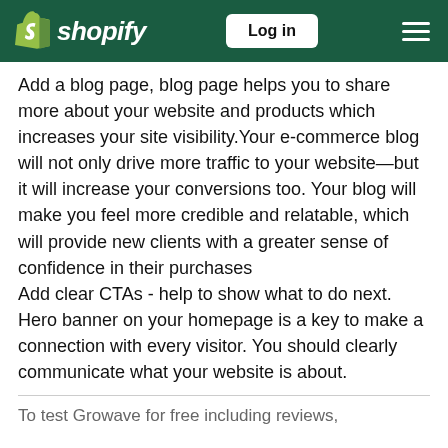shopify | Log in
Add a blog page, blog page helps you to share more about your website and products which increases your site visibility.Your e-commerce blog will not only drive more traffic to your website—but it will increase your conversions too. Your blog will make you feel more credible and relatable, which will provide new clients with a greater sense of confidence in their purchases
Add clear CTAs - help to show what to do next. Hero banner on your homepage is a key to make a connection with every visitor. You should clearly communicate what your website is about.
To test Growave for free including reviews,